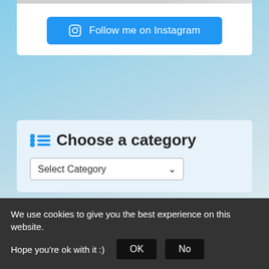[Figure (illustration): Instagram follow button: blue rounded button with Instagram icon and text 'Follow me on Instagram']
Choose a category
[Figure (screenshot): Select Category dropdown box]
Who is Crazy Sexy Fun Traveler?
[Figure (photo): Circular avatar photo of Alex, a woman with brown hair]
Alex is a crazy Slovak girl who made traveling the reason of her life. In 2010
We use cookies to give you the best experience on this website. Hope you're ok with it :)